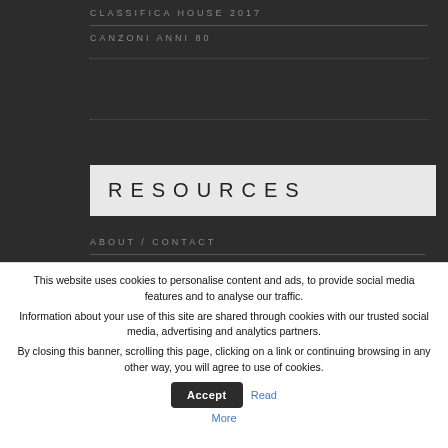CLASSIFICA HOUSE 2017
CANZONI ANNI 80
RESOURCES
ABOUT / CONTACT
DISCLOSURE PARTNER –
AFFILIAZIONI
This website uses cookies to personalise content and ads, to provide social media features and to analyse our traffic. Information about your use of this site are shared through cookies with our trusted social media, advertising and analytics partners. By closing this banner, scrolling this page, clicking on a link or continuing browsing in any other way, you will agree to use of cookies.
Accept
Read More